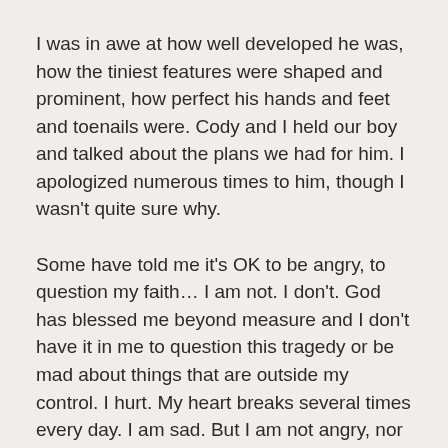I was in awe at how well developed he was, how the tiniest features were shaped and prominent, how perfect his hands and feet and toenails were. Cody and I held our boy and talked about the plans we had for him. I apologized numerous times to him, though I wasn't quite sure why.
Some have told me it's OK to be angry, to question my faith… I am not. I don't. God has blessed me beyond measure and I don't have it in me to question this tragedy or be mad about things that are outside my control. I hurt. My heart breaks several times every day. I am sad. But I am not angry, nor do I blame God.
I have been far too blessed to question anything. Even during the raw pain of it all, I was grateful that I was